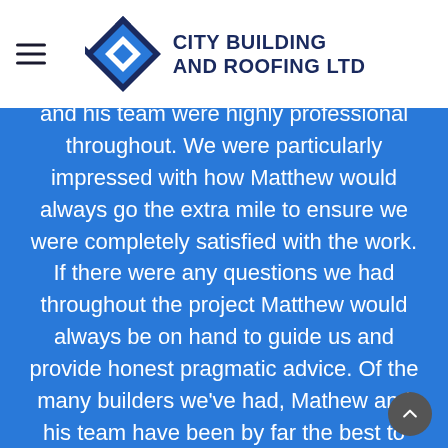CITY BUILDING AND ROOFING LTD
and his team were highly professional throughout. We were particularly impressed with how Matthew would always go the extra mile to ensure we were completely satisfied with the work. If there were any questions we had throughout the project Matthew would always be on hand to guide us and provide honest pragmatic advice. Of the many builders we've had, Mathew and his team have been by far the best to work with and we felt in safe